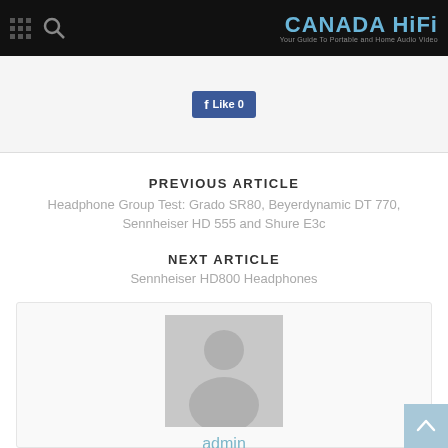CANADA HiFi — Your Guide To Portable and Home Audio Video
[Figure (screenshot): Facebook Like button]
PREVIOUS ARTICLE
Headphone Group Test: Grado SR80, Beyerdynamic DT 770, Sennheiser HD 555 and Shure E3c
NEXT ARTICLE
Sennheiser HD800 Headphones
[Figure (illustration): Default user avatar placeholder — grey silhouette of a person on grey background]
admin